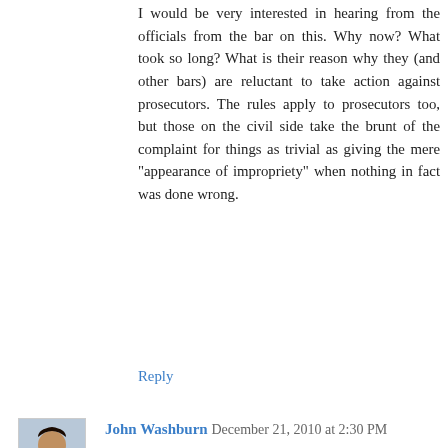I would be very interested in hearing from the officials from the bar on this. Why now? What took so long? What is their reason why they (and other bars) are reluctant to take action against prosecutors. The rules apply to prosecutors too, but those on the civil side take the brunt of the complaint for things as trivial as giving the mere "appearance of impropriety" when nothing in fact was done wrong.
Reply
John Washburn December 21, 2010 at 2:30 PM
Defending the indefensible:
To KC Sprayberry and http://ht.ly/3s9Je about writing a book.
What exactly is the crime here?
Boycotting amazon.com is perfectly acceptable exercise of free association as would be my refusal to be the printer of the book.